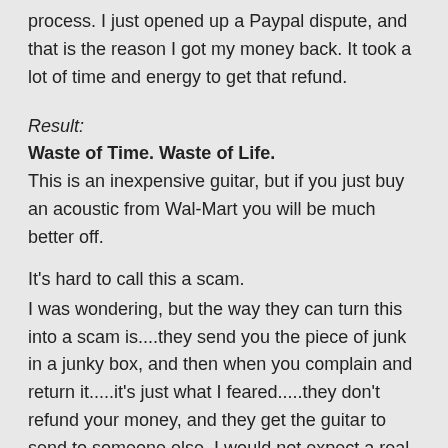process. I just opened up a Paypal dispute, and that is the reason I got my money back. It took a lot of time and energy to get that refund.
Result:
Waste of Time. Waste of Life.
This is an inexpensive guitar, but if you just buy an acoustic from Wal-Mart you will be much better off.
It's hard to call this a scam.
I was wondering, but the way they can turn this into a scam is....they send you the piece of junk in a junky box, and then when you complain and return it.....it's just what I feared.....they don't refund your money, and they get the guitar to send to someone else. I would not expect a real Company to go that low, but after the fight I had to put up to get my money back, these people are evil Evil Doers.